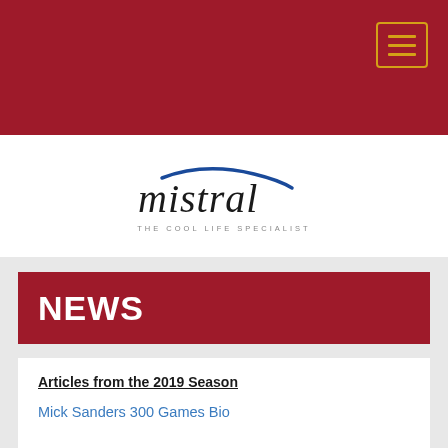[Figure (logo): Mistral logo with blue swoosh above italic text 'mistral' and tagline 'THE COOL LIFE SPECIALIST']
NEWS
Articles from the 2019 Season
Mick Sanders 300 Games Bio